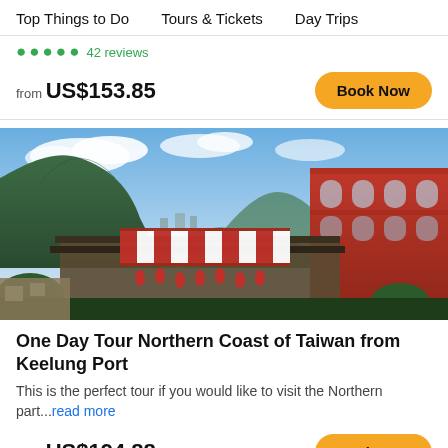Top Things to Do   Tours & Tickets   Day Trips
from US$153.85
[Figure (photo): Aerial view of Jiufen, Taiwan with traditional red buildings, green mountains, and red-striped awning in foreground]
One Day Tour Northern Coast of Taiwan from Keelung Port
This is the perfect tour if you would like to visit the Northern part...read more
from US$194.88